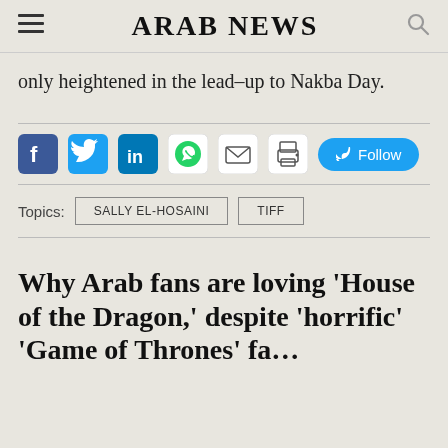ARAB NEWS
only heightened in the lead-up to Nakba Day.
[Figure (other): Social sharing bar with Facebook, Twitter, LinkedIn, WhatsApp, Email, Print icons and a Twitter Follow button]
Topics:  SALLY EL-HOSAINI  TIFF
Why Arab fans are loving 'House of the Dragon,' despite 'horrific' 'Game of Thrones' fa…